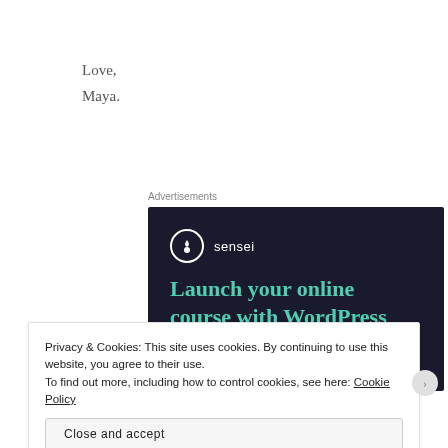Love,
Maya.
Advertisements
[Figure (other): Sensei advertisement: dark navy background with Sensei logo (tree icon in circle) and text 'Launch your online course with WordPress', teal call-to-action button]
Privacy & Cookies: This site uses cookies. By continuing to use this website, you agree to their use.
To find out more, including how to control cookies, see here: Cookie Policy
Close and accept